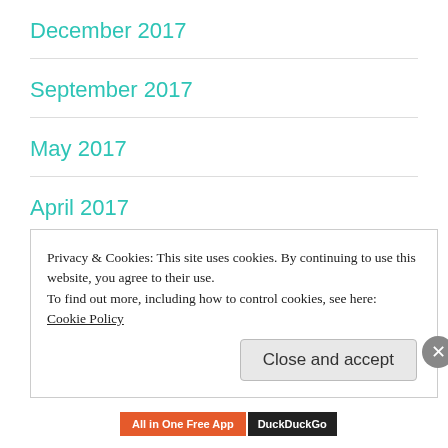December 2017
September 2017
May 2017
April 2017
March 2017
February 2017
Privacy & Cookies: This site uses cookies. By continuing to use this website, you agree to their use.
To find out more, including how to control cookies, see here: Cookie Policy
Close and accept
All in One Free App   DuckDuckGo